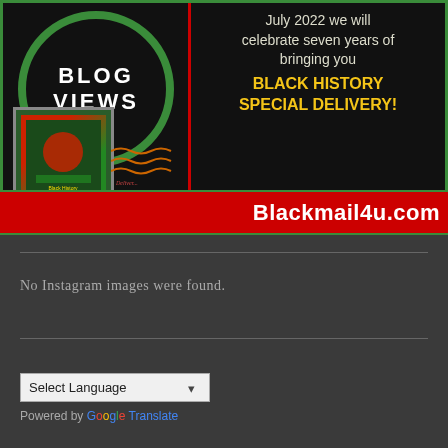[Figure (infographic): Black History Special Delivery promotional banner. Left side: black background with green circular outline containing 'BLOG VIEWS' text in white, and a postage stamp graphic at bottom left. Right side: black background with white/cream text 'July 2022 we will celebrate seven years of bringing you' and gold bold text 'BLACK HISTORY SPECIAL DELIVERY!'. Bottom red bar with white bold text 'Blackmail4u.com'. Bordered with green.]
No Instagram images were found.
Select Language
Powered by Google Translate